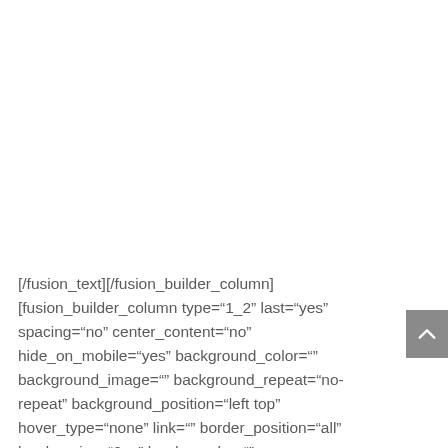[/fusion_text][/fusion_builder_column] [fusion_builder_column type="1_2" last="yes" spacing="no" center_content="no" hide_on_mobile="yes" background_color="" background_image="" background_repeat="no-repeat" background_position="left top" hover_type="none" link="" border_position="all" border_size="0px" border_color=""